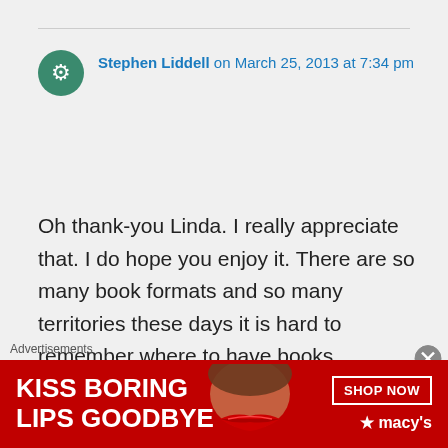Stephen Liddell on March 25, 2013 at 7:34 pm
Oh thank-you Linda. I really appreciate that. I do hope you enjoy it. There are so many book formats and so many territories these days it is hard to remember where to have books registered but I have actually sold a few in Kindle recently. Do let me
Advertisements
[Figure (photo): Advertisement banner: red background with text KISS BORING LIPS GOODBYE on the left, woman's lips photo in the center, SHOP NOW button and macys logo with star on the right]